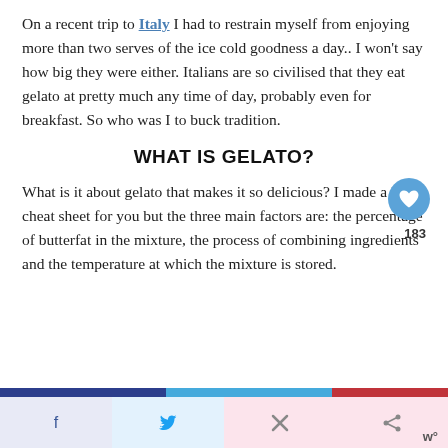On a recent trip to Italy I had to restrain myself from enjoying more than two serves of the ice cold goodness a day.. I won't say how big they were either. Italians are so civilised that they eat gelato at pretty much any time of day, probably even for breakfast. So who was I to buck tradition.
WHAT IS GELATO?
What is it about gelato that makes it so delicious? I made a little cheat sheet for you but the three main factors are: the percentage of butterfat in the mixture, the process of combining ingredients and the temperature at which the mixture is stored.